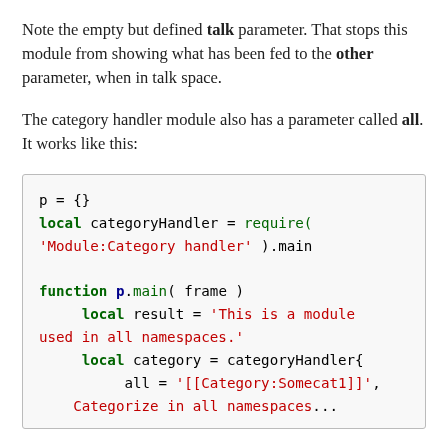Note the empty but defined talk parameter. That stops this module from showing what has been fed to the other parameter, when in talk space.
The category handler module also has a parameter called all. It works like this:
[Figure (screenshot): Code block showing Lua module code with syntax highlighting. Contains: p = {} / local categoryHandler = require( / 'Module:Category handler' ).main / function p.main( frame ) / local result = 'This is a module / used in all namespaces.' / local category = categoryHandler{ / all = '[[Category:Somecat1]]', / Categorize in all namespaces...]